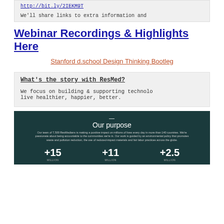http://bit.ly/2IEKM9T
We'll share links to extra information and
Webinar Recordings & Highlights Here
Stanford d.school Design Thinking Bootleg
What's the story with ResMed?
We focus on building & supporting technolo
live healthier, happier, better.
[Figure (infographic): ResMed Our Purpose section with dark teal background. Text reads: Our team of 7,500 ResMedians is making a positive impact on millions of lives every day in more than 140 countries. We're passionate about being accountable to the communities we're in. Our work is guided by an environmental policy that promotes waste and pollution reduction, the use of reduced-impact materials and fair labor practices across the globe. Stats: +15 MILLION, +11 MILLION, +2.5 MILLION]